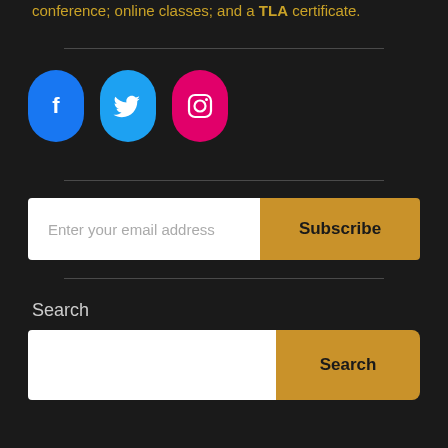conference; online classes; and a TLA certificate.
[Figure (illustration): Three social media icons: Facebook (blue rounded rectangle with 'f' icon), Twitter (light blue rounded rectangle with bird icon), Instagram (pink/magenta rounded rectangle with camera icon)]
Enter your email address
Subscribe
Search
Search